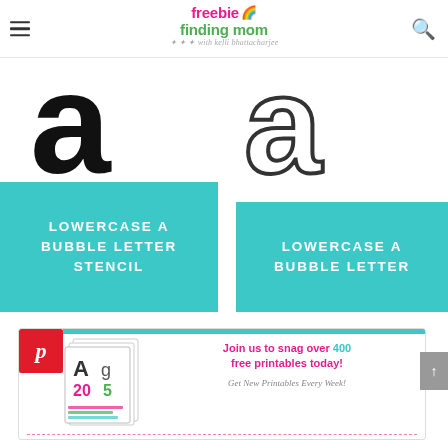freebie finding mom with kelli bhattacharjee
[Figure (illustration): Large black lowercase letter 'a' stencil style (bold, thick outlines), cropped — left half of image pair]
[Figure (illustration): Outline lowercase letter 'a' bubble letter style (thin outlines), cropped — right half of image pair]
LOWERCASE A BUBBLE LETTER STENCIL
LOWERCASE A BUBBLE LETTER
[Figure (infographic): Pinterest newsletter signup box with printables image, teal bar, text: Join us to snag over 400 free printables today! Get New Printables Every Week!]